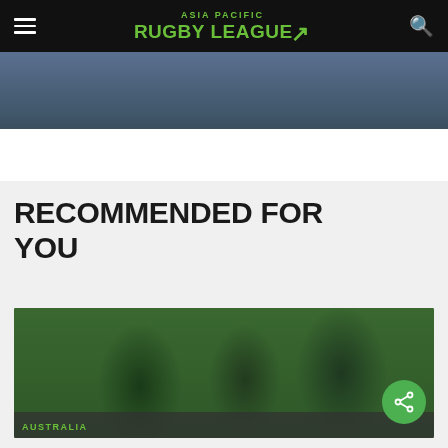ASIA PACIFIC RUGBY LEAGUE
[Figure (photo): Rugby league players at top of page, partially cropped]
RECOMMENDED FOR YOU
[Figure (photo): Three young rugby league players wearing green jerseys with 94.9 sponsor logos, with a share button overlay and AUSTRALIA label at bottom]